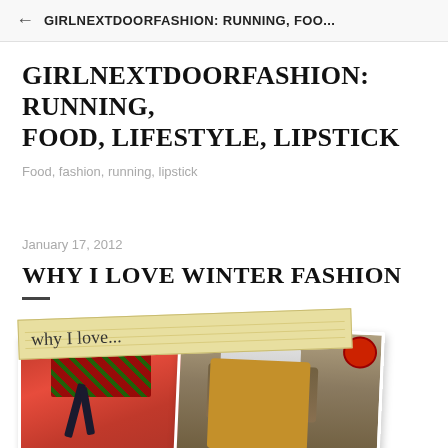GIRLNEXTDOORFASHION: RUNNING, FOO...
GIRLNEXTDOORFASHION: RUNNING, FOOD, LIFESTYLE, LIPSTICK
Food, fashion, running, lipstick
January 17, 2012
WHY I LOVE WINTER FASHION
[Figure (photo): A collage with a handwritten notepad strip reading 'why I love...' overlaid on photos of a red sweater with plaid collar and black ribbon, and a woman in a mustard cardigan with a large scarf standing on a street.]